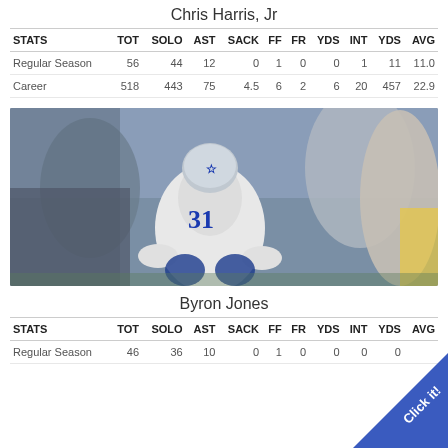Chris Harris, Jr
| STATS | TOT | SOLO | AST | SACK | FF | FR | YDS | INT | YDS | AVG |
| --- | --- | --- | --- | --- | --- | --- | --- | --- | --- | --- |
| Regular Season | 56 | 44 | 12 | 0 | 1 | 0 | 0 | 1 | 11 | 11.0 |
| Career | 518 | 443 | 75 | 4.5 | 6 | 2 | 6 | 20 | 457 | 22.9 |
[Figure (photo): Byron Jones #31 Dallas Cowboys cornerback in defensive stance on field]
Byron Jones
| STATS | TOT | SOLO | AST | SACK | FF | FR | YDS | INT | YDS | AVG |
| --- | --- | --- | --- | --- | --- | --- | --- | --- | --- | --- |
| Regular Season | 46 | 36 | 10 | 0 | 1 | 0 | 0 | 0 | 0 |  |